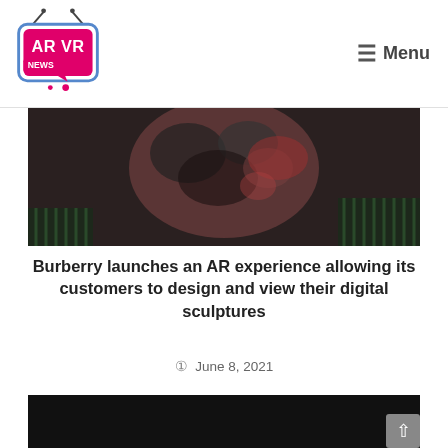AR VR NEWS | Menu
[Figure (photo): Close-up photo of a sculptural head with patterned surface in dark tones on a dark background]
Burberry launches an AR experience allowing its customers to design and view their digital sculptures
June 8, 2021
[Figure (photo): Dark/black image, partially visible article thumbnail]